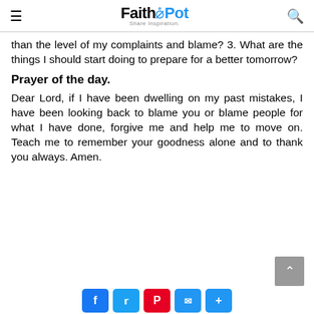FaithPot — Share Inspiration.
than the level of my complaints and blame? 3. What are the things I should start doing to prepare for a better tomorrow?
Prayer of the day.
Dear Lord, if I have been dwelling on my past mistakes, I have been looking back to blame you or blame people for what I have done, forgive me and help me to move on. Teach me to remember your goodness alone and to thank you always. Amen.